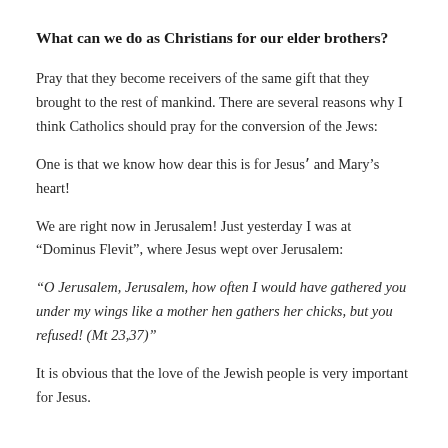What can we do as Christians for our elder brothers?
Pray that they become receivers of the same gift that they brought to the rest of mankind. There are several reasons why I think Catholics should pray for the conversion of the Jews:
One is that we know how dear this is for Jesusʼ and Mary’s heart!
We are right now in Jerusalem! Just yesterday I was at “Dominus Flevit”, where Jesus wept over Jerusalem:
“O Jerusalem, Jerusalem, how often I would have gathered you under my wings like a mother hen gathers her chicks, but you refused! (Mt 23,37)”
It is obvious that the love of the Jewish people is very important for Jesus.